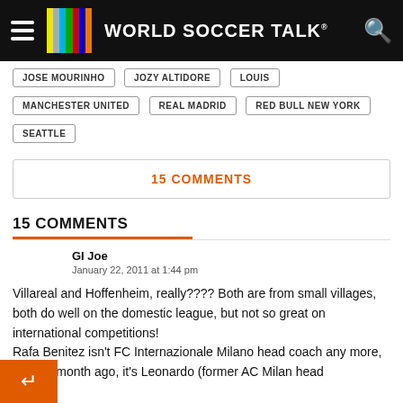WORLD SOCCER TALK
JOSE MOURINHO
JOZY ALTIDORE
LOUIS
MANCHESTER UNITED
REAL MADRID
RED BULL NEW YORK
SEATTLE
15 COMMENTS
15 COMMENTS
GI Joe
January 22, 2011 at 1:44 pm

Villareal and Hoffenheim, really???? Both are from small villages, both do well on the domestic league, but not so great on international competitions!
Rafa Benitez isn't FC Internazionale Milano head coach any more, since a month ago, it's Leonardo (former AC Milan head coach)